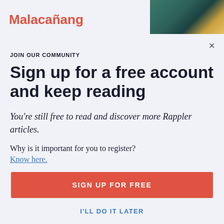Malacañang
X
JOIN OUR COMMUNITY
Sign up for a free account and keep reading
You're still free to read and discover more Rappler articles.
Why is it important for you to register?
Know here.
SIGN UP FOR FREE
I'LL DO IT LATER